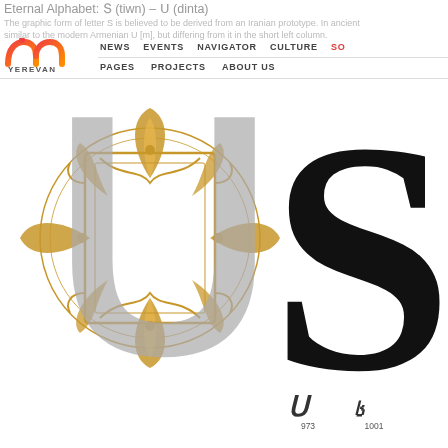Eternal Alphabet: Տ (tiwn) – Ս (dinta)
The graphic form of letter S is believed to be derived from an Iranian prototype. In ancient times it was similar to the modern Armenian U [m], but differing from it in the short left column.
[Figure (logo): iM Yerevan logo — stylized red/orange gradient letter 'im' with YEREVAN text below]
NEWS  EVENTS  NAVIGATOR  CULTURE  SO  |  PAGES  PROJECTS  ABOUT US
[Figure (illustration): Large decorative Armenian letter Ս (Se) in gray overlaid on golden ornamental cross/rosette pattern]
[Figure (illustration): Large black Latin/Armenian letter S rendered in bold serif typeface, cropped on right side]
[Figure (illustration): Small italic Armenian glyph variant, labeled 973]
[Figure (illustration): Small italic Armenian glyph variant, labeled 1001]